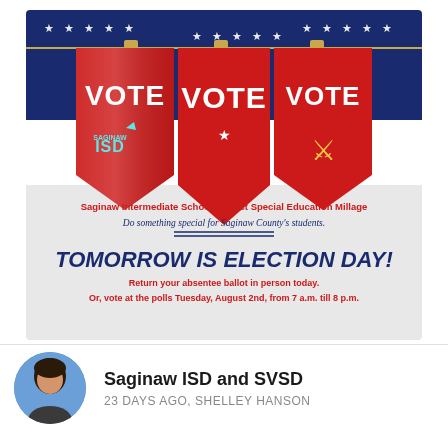[Figure (infographic): Election campaign banner for Saginaw ISD Special Education Millage. Features three red pennant banners on a blue star-spangled background with 'VOTE' text. Left pennant shows Saginaw ISD logo, right pennant shows a Viking mascot. Lower section on gray background reads: 'Saginaw Intermediate School District Special Education Millage. Do something special for Saginaw County's students. TOMORROW IS ELECTION DAY! Return your absentee ballot in person today. Or, vote at the polls Tuesday, August 2nd, from 7 a.m. till 8 p.m.']
Saginaw ISD and SVSD
23 DAYS AGO, SHELLEY HANSON